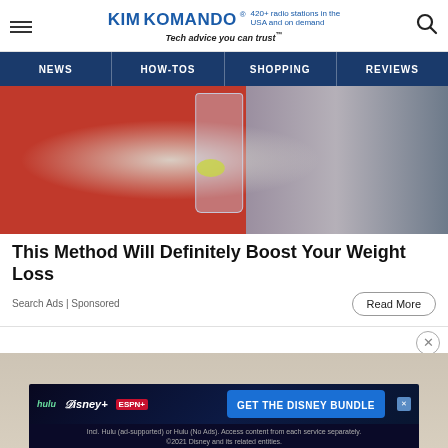KimKomando® 420+ radio stations in the USA and on demand — Tech advice you can trust™
NEWS | HOW-TOS | SHOPPING | REVIEWS
[Figure (photo): Person in a red outfit holding a glass of water with lemon/lime slices]
This Method Will Definitely Boost Your Weight Loss
Search Ads | Sponsored
[Figure (screenshot): Disney Bundle advertisement: hulu Disney+ ESPN+ GET THE DISNEY BUNDLE. Incl. Hulu (ad-supported) or Hulu (No Ads). Access content from each service separately. ©2021 Disney and its related entities.]